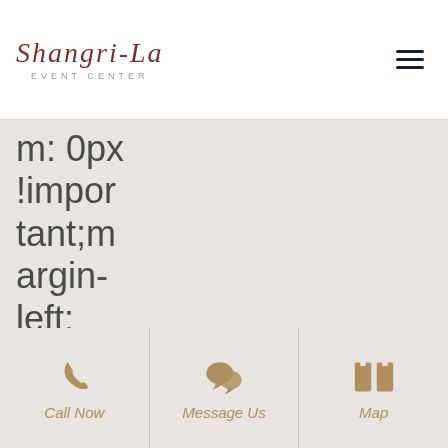SHANGRI-LA EVENT CENTER
m: 0px !important;margin-left: 0px !important;padding-top: 0px !important;p
Call Now | Message Us | Map